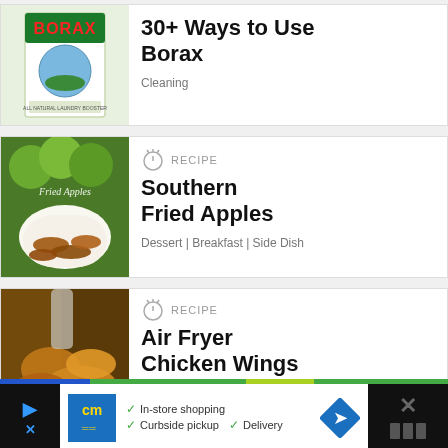[Figure (photo): Borax box product image - white and green box with All Natural Laundry Booster label and BORAX text in red]
30+ Ways to Use Borax
Cleaning
[Figure (photo): Fried apples in a white bowl with green apples in background, text overlay says Fried Apples]
RECIPE
Southern Fried Apples
Dessert | Breakfast | Side Dish
[Figure (photo): Air fryer chicken wings in a basket, golden and crispy]
RECIPE
Air Fryer Chicken Wings (Extra Crispy)
In-store shopping  Curbside pickup  Delivery
[Figure (logo): cm logo advertisement banner with blue background and yellow text]